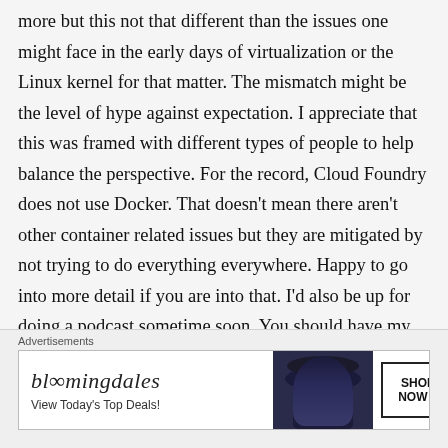more but this not that different than the issues one might face in the early days of virtualization or the Linux kernel for that matter. The mismatch might be the level of hype against expectation. I appreciate that this was framed with different types of people to help balance the perspective. For the record, Cloud Foundry does not use Docker. That doesn't mean there aren't other container related issues but they are mitigated by not trying to do everything everywhere. Happy to go into more detail if you are into that. I'd also be up for doing a podcast sometime soon. You should have my email.
[Figure (other): Bloomingdale's advertisement banner with logo, woman in wide-brim hat, and 'SHOP NOW >' button]